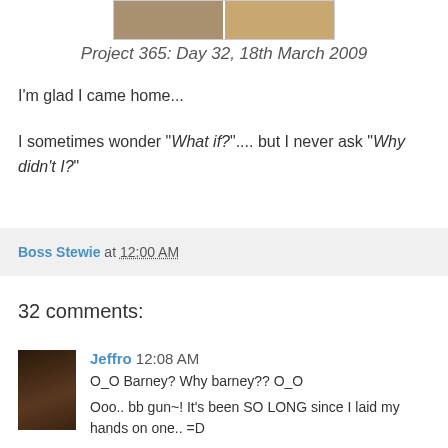[Figure (photo): Two side-by-side photo thumbnails at the top of the page]
Project 365: Day 32, 18th March 2009
I'm glad I came home...
I sometimes wonder "What if?".... but I never ask "Why didn't I?"
Boss Stewie at 12:00 AM
32 comments:
Jeffro 12:08 AM
O_O Barney? Why barney?? O_O
Ooo.. bb gun~! It's been SO LONG since I laid my hands on one.. =D

oh well the questions always run around in ppl's mind.. and